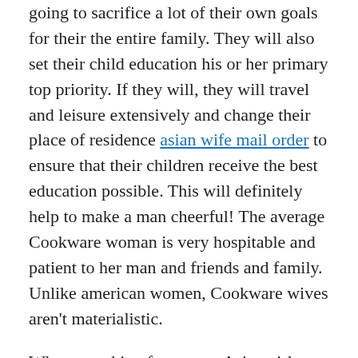going to sacrifice a lot of their own goals for their the entire family. They will also set their child education his or her primary top priority. If they will, they will travel and leisure extensively and change their place of residence asian wife mail order to ensure that their children receive the best education possible. This will definitely help to make a man cheerful! The average Cookware woman is very hospitable and patient to her man and friends and family. Unlike american women, Cookware wives aren't materialistic.
When searching for a great Asian girl, you need to understand chinese and traditions of the region you are considering. Asian cultures are vastly different from Traditional western way of life. Understanding all their customs and beliefs is vital to finding a compatible spouse. Once you have this kind of knowledge, you're ready to find the ideal meet. Just remember to get confident and honest about trying to find a Cookware wife. And remember, don't